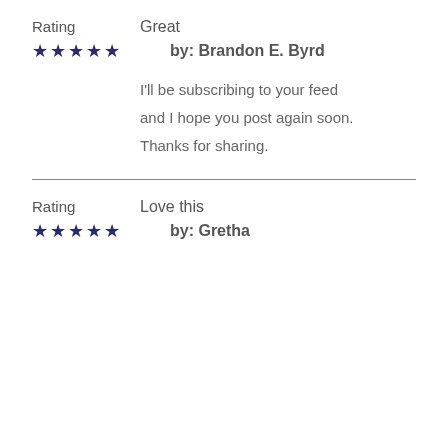Rating   Great
★★★★★   by: Brandon E. Byrd
I'll be subscribing to your feed and I hope you post again soon. Thanks for sharing.
Rating   Love this
★★★★★   by: Gretha